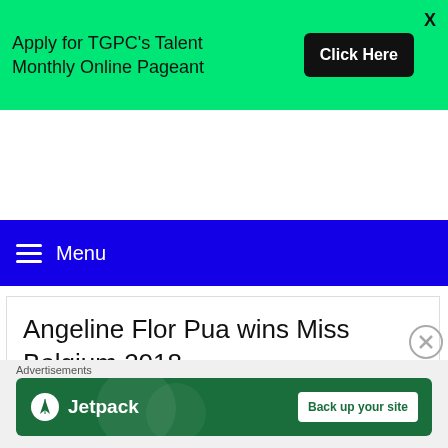[Figure (screenshot): Green banner advertisement: 'Apply for TGPC's Talent Monthly Online Pageant' with a black 'Click Here' button and an X close button]
Menu
Angeline Flor Pua wins Miss Belgium 2018
[Figure (screenshot): Advertisements section with Jetpack banner: 'Back up your site']